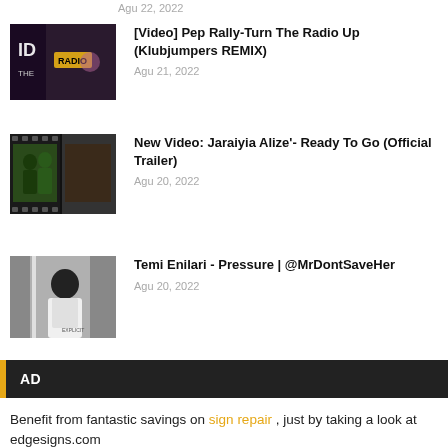Agu 22, 2022
[Figure (photo): Dark thumbnail for video: Pep Rally-Turn The Radio Up (Klubjumpers REMIX)]
[Video] Pep Rally-Turn The Radio Up (Klubjumpers REMIX)
Agu 21, 2022
[Figure (photo): Film strip thumbnail for: New Video: Jaraiyia Alize'- Ready To Go (Official Trailer)]
New Video: Jaraiyia Alize'- Ready To Go (Official Trailer)
Agu 20, 2022
[Figure (photo): Thumbnail: Temi Enilari - Pressure | @MrDontSaveHer]
Temi Enilari - Pressure | @MrDontSaveHer
Agu 20, 2022
AD
Benefit from fantastic savings on sign repair , just by taking a look at edgesigns.com